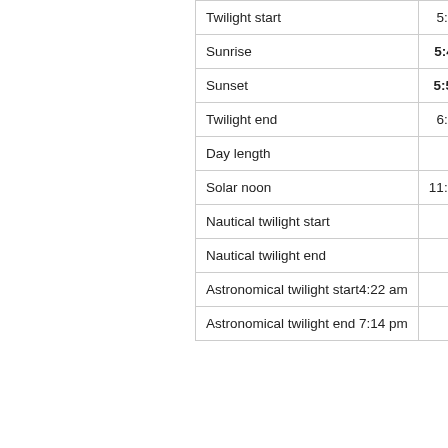| Event | Time |
| --- | --- |
| Twilight start | 5:20:34 am |
| Sunrise | 5:44:14 am |
| Sunset | 5:52:49 pm |
| Twilight end | 6:16:29 pm |
| Day length | 12:08:35 |
| Solar noon | 11:48:32 am |
| Nautical twilight start | 4:51 am |
| Nautical twilight end | 6:45 pm |
| Astronomical twilight start | 4:22 am |
| Astronomical twilight end | 7:14 pm |